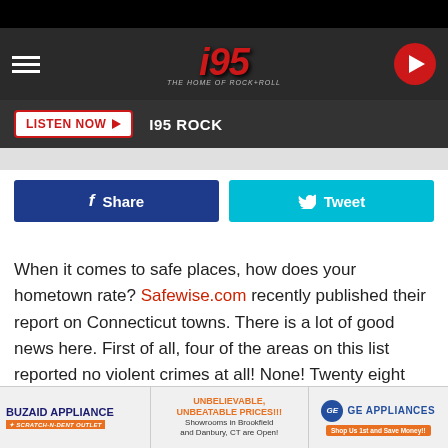i95 THE HOME OF ROCK+ROLL — LISTEN NOW | I95 ROCK
[Figure (screenshot): i95 Rock radio station website header with logo, hamburger menu, play button, Listen Now button, and Share/Tweet social buttons]
When it comes to safe places, how does your hometown rate? Safewise.com recently published their report on Connecticut towns. There is a lot of good news here. First of all, four of the areas on this list reported no violent crimes at all! None! Twenty eight report no more than ten.
How do they choose the rankings? Safewise.com look at the
[Figure (other): Advertisement banner: Buzaid Appliance Scratch-N-Dent Outlet, Unbelievable Unbeatable Prices Showrooms in Brookfield and Danbury CT are Open, GE Appliances Shop Us 1st and Save Money]